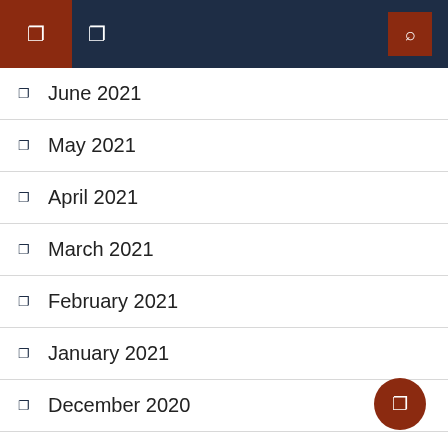navigation header with icons
June 2021
May 2021
April 2021
March 2021
February 2021
January 2021
December 2020
October 2020
September 2020
August 2020